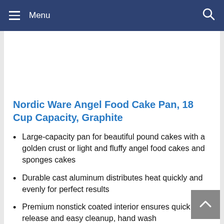Menu
Nordic Ware Angel Food Cake Pan, 18 Cup Capacity, Graphite
Large-capacity pan for beautiful pound cakes with a golden crust or light and fluffy angel food cakes and sponges cakes
Durable cast aluminum distributes heat quickly and evenly for perfect results
Premium nonstick coated interior ensures quick release and easy cleanup, hand wash